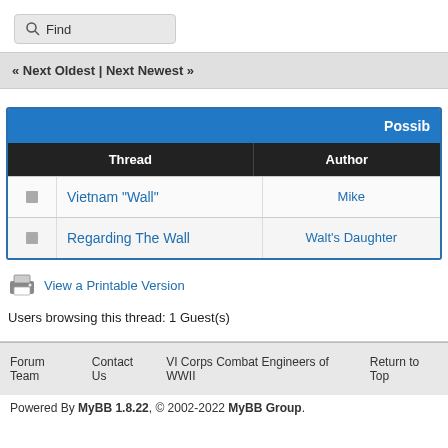Find
« Next Oldest | Next Newest »
|  | Thread | Author |
| --- | --- | --- |
|  | Vietnam "Wall" | Mike |
|  | Regarding The Wall | Walt's Daughter |
View a Printable Version
Users browsing this thread: 1 Guest(s)
Forum Team   Contact Us   VI Corps Combat Engineers of WWII   Return to Top
Powered By MyBB 1.8.22, © 2002-2022 MyBB Group.